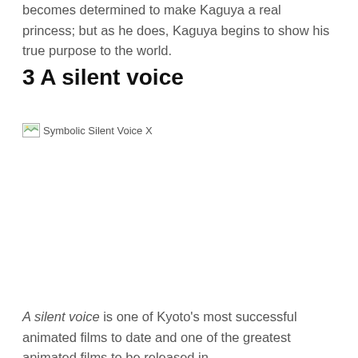becomes determined to make Kaguya a real princess; but as he does, Kaguya begins to show his true purpose to the world.
3 A silent voice
[Figure (illustration): Broken image placeholder labeled 'Symbolic Silent Voice X']
A silent voice is one of Kyoto's most successful animated films to date and one of the greatest animated films to be released in